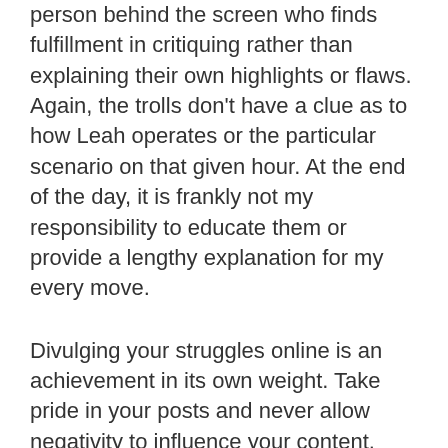person behind the screen who finds fulfillment in critiquing rather than explaining their own highlights or flaws. Again, the trolls don't have a clue as to how Leah operates or the particular scenario on that given hour. At the end of the day, it is frankly not my responsibility to educate them or provide a lengthy explanation for my every move.
Divulging your struggles online is an achievement in its own weight. Take pride in your posts and never allow negativity to influence your content. Personally, I believe that hateful words are an outcry for personal insecurities, jealousies, and unhappiness. Nine times out of ten, people hide behind the